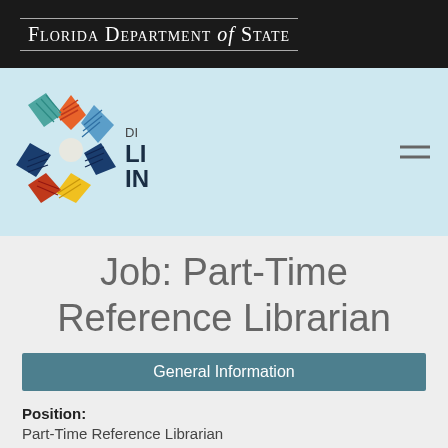Florida Department of State
[Figure (logo): Division of Library and Information Services (DLIN) logo with colorful book pages arranged in a starburst pattern and the text DI LI IN]
Job: Part-Time Reference Librarian
General Information
Position:
Part-Time Reference Librarian
Number position available: